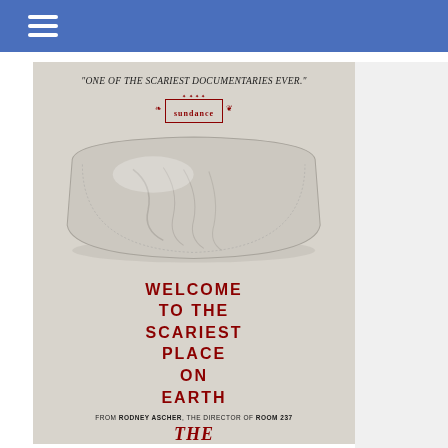☰
[Figure (photo): Movie poster for 'The Nightmare' documentary directed by Rodney Ascher. Shows a flattened pillow on a white/grey background with the quote 'One of the Scariest Documentaries Ever.' and a Sundance badge. Text reads: WELCOME TO THE SCARIEST PLACE ON EARTH. FROM RODNEY ASCHER, THE DIRECTOR OF ROOM 237. Title: THE NIGHTMARE.]